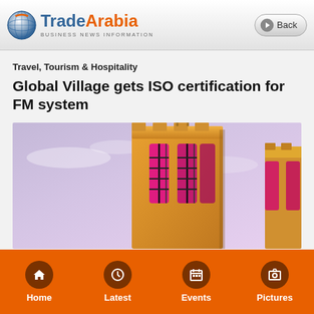TradeArabia BUSINESS NEWS INFORMATION | Back
Travel, Tourism & Hospitality
Global Village gets ISO certification for FM system
[Figure (photo): Low-angle photo of ornate Middle Eastern wind tower architecture illuminated in pink/magenta against a purple-blue sky]
Home | Latest | Events | Pictures